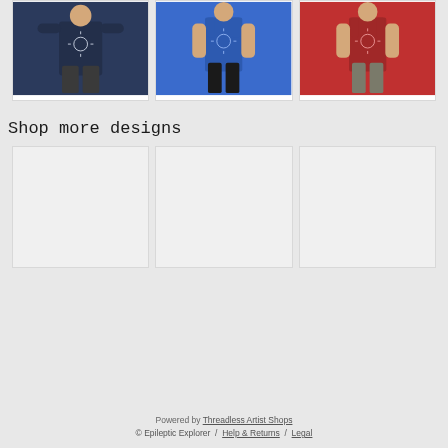[Figure (photo): Three product photos showing models wearing shirts: navy t-shirt, blue tank top, red tank top, each with a sun design graphic]
Shop more designs
[Figure (photo): Three placeholder/loading product image cards shown as light gray rectangles]
Powered by Threadless Artist Shops
© Epileptic Explorer / Help & Returns / Legal